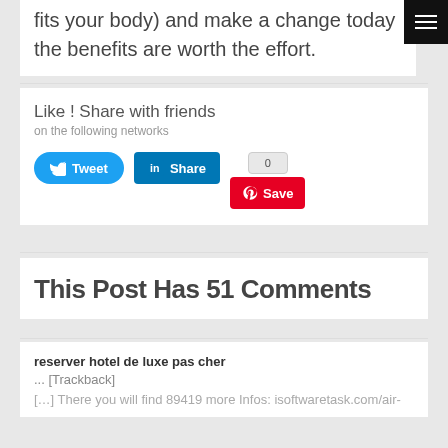fits your body) and make a change today the benefits are worth the effort.
Like ! Share with friends on the following networks
[Figure (other): Social share buttons: Tweet (Twitter), Share (LinkedIn), and Save (Pinterest) buttons]
This Post Has 51 Comments
reserver hotel de luxe pas cher
... [Trackback]
[…] There you will find 89419 more Infos: isoftwaretask.com/air-